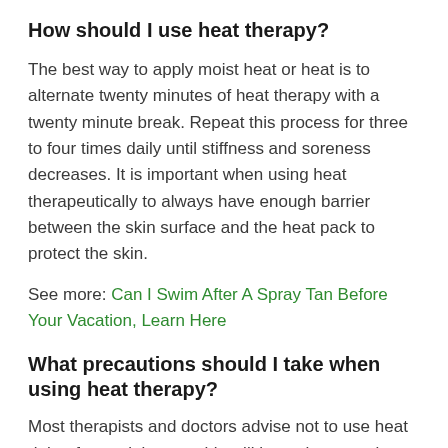How should I use heat therapy?
The best way to apply moist heat or heat is to alternate twenty minutes of heat therapy with a twenty minute break. Repeat this process for three to four times daily until stiffness and soreness decreases. It is important when using heat therapeutically to always have enough barrier between the skin surface and the heat pack to protect the skin.
See more: Can I Swim After A Spray Tan Before Your Vacation, Learn Here
What precautions should I take when using heat therapy?
Most therapists and doctors advise not to use heat right after an injury, as this will have the opposite